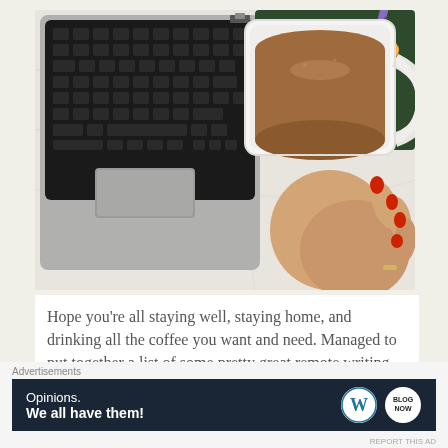[Figure (photo): Overhead/flat-lay photo showing a laptop keyboard and trackpad on the left, and a hand with red nails holding a white mug of coffee with cream on the right, over a marble surface. A purple pen and colorful floral notebook are visible in the background center.]
Hope you’re all staying well, staying home, and drinking all the coffee you want and need. Managed to put together a list of some pretty great remote writing jobs and a few on-site Canadian writing jobs, including
Advertisements
[Figure (infographic): Advertisement banner with dark navy background. Left side text reads: 'Opinions.' on first line, 'We all have them!' in bold on second line. Right side shows two circular logos: WordPress logo (W in circle) and a blog/magazine logo.]